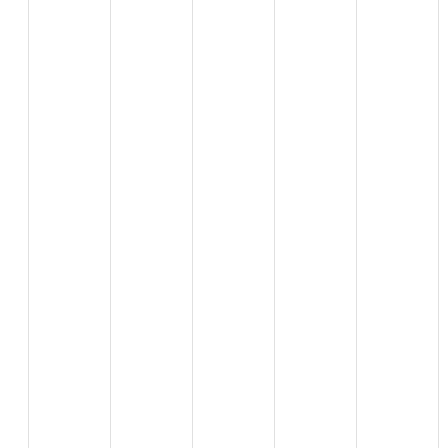2018-06-04 at 18:04
What's the Cathedral center we shou... Department of Ed? Asking for an unem...
Reply
BC says:
2018-06-04 at 19:14
LOL, do that and they'll put your ... and all your friends in jail or just... point. No one attacks Cathedra... (included Islamic terrorists in Euro...
Reply
jim says:
2018-06-04 at 22:57
Trump has the department of ed ... to support his initiatives there. Go... and weakness as the DoJ comes ... been massively complicit in ille... (Recall them ratting on genera... suggests that they fear that some... them, but so far, no dirt.
Reply
Bob says: